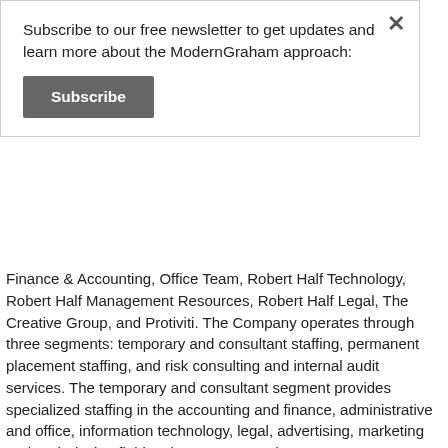Subscribe to our free newsletter to get updates and learn more about the ModernGraham approach:
Subscribe
Finance & Accounting, Office Team, Robert Half Technology, Robert Half Management Resources, Robert Half Legal, The Creative Group, and Protiviti. The Company operates through three segments: temporary and consultant staffing, permanent placement staffing, and risk consulting and internal audit services. The temporary and consultant segment provides specialized staffing in the accounting and finance, administrative and office, information technology, legal, advertising, marketing and Web design fields. The permanent placement segment provides full-time personnel in the accounting, finance, administrative and office, and information technology fields. The risk consulting segment provides business and technology risk consulting and internal audit services.
[level-free]
To read the rest of this valuation, you must be logged in as a premium member. If you are not a premium member, please consider becoming one.
[/level-free]